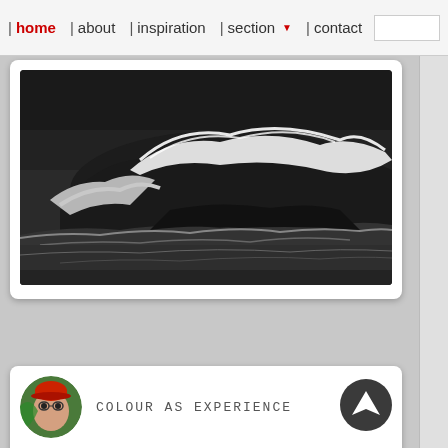| home | about | inspiration | section ▼ | contact
[Figure (photo): Black and white photograph of large ocean waves crashing over rocks, dramatic seascape with white foam and spray]
[Figure (photo): Circular avatar image showing a colorful illustrated face with red hat and green background]
COLOUR AS EXPERIENCE
Author: Neil Craver
[Figure (photo): Partial view of a photograph with dark background and bright green illuminated landscape or terrain at bottom]